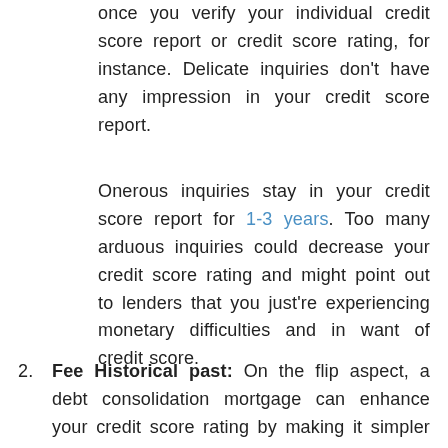once you verify your individual credit score report or credit score rating, for instance. Delicate inquiries don't have any impression in your credit score report.
Onerous inquiries stay in your credit score report for 1-3 years. Too many arduous inquiries could decrease your credit score rating and might point out to lenders that you just're experiencing monetary difficulties and in want of credit score.
Fee Historical past: On the flip aspect, a debt consolidation mortgage can enhance your credit score rating by making it simpler so that you can create a optimistic fee historical past. First, the money owed that the mortgage was used to repay will seem paid in full in your credit score report. Second, when you safe a decrease rate of interest that makes your month-to-